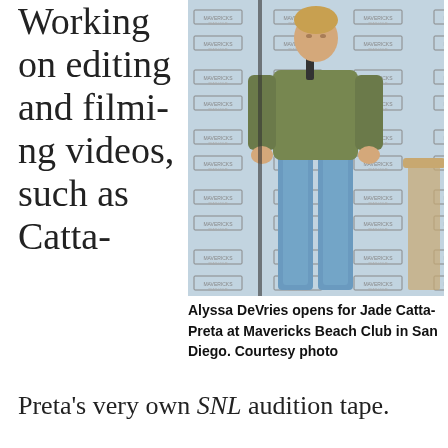Working on editing and filming videos, such as Catta-Preta's very own SNL audition tape.
[Figure (photo): A woman standing in front of a Mavericks Beach Club branded step-and-repeat backdrop, holding a microphone, wearing jeans and a green jacket.]
Alyssa DeVries opens for Jade Catta-Preta at Mavericks Beach Club in San Diego. Courtesy photo